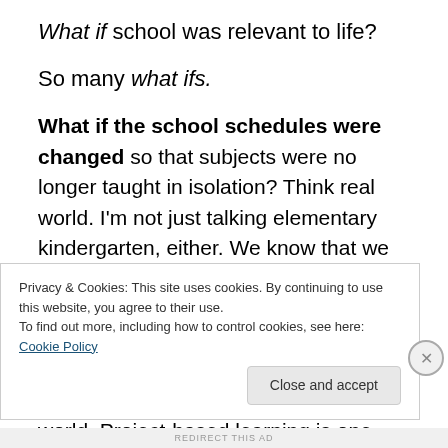What if school was relevant to life?
So many what ifs.
What if the school schedules were changed so that subjects were no longer taught in isolation? Think real world. I'm not just talking elementary kindergarten, either. We know that we need connections for learning to stick. By making connections across content, students learn in a way that is relevant and authentic. Learning feels meaningful and has connections to the world. Project-based learning is one powerful way this might be done
Privacy & Cookies: This site uses cookies. By continuing to use this website, you agree to their use.
To find out more, including how to control cookies, see here: Cookie Policy
Close and accept